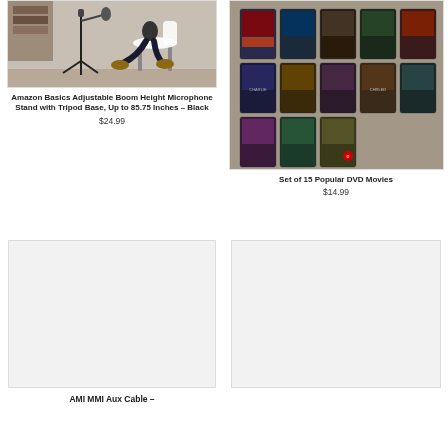[Figure (photo): Person sitting on a chair next to a microphone stand with tripod base]
Amazon Basics Adjustable Boom Height Microphone Stand with Tripod Base, Up to 85.75 Inches - Black
$24.99
[Figure (photo): Collection of 15 DVD movie cases arranged on a surface, viewed from above]
Set of 15 Popular DVD Movies
$14.99
[Figure (photo): Product image placeholder - light gray rectangle]
AMI MMI Aux Cable -
[Figure (photo): Product image placeholder - light gray rectangle]